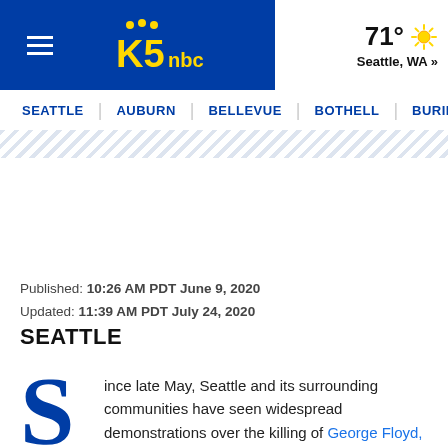KING 5 News - Navigation header with hamburger menu, KING5 logo, weather: 71° Seattle, WA
SEATTLE | AUBURN | BELLEVUE | BOTHELL | BURIEN
Published: 10:26 AM PDT June 9, 2020
Updated: 11:39 AM PDT July 24, 2020
SEATTLE
Since late May, Seattle and its surrounding communities have seen widespread demonstrations over the killing of George Floyd,